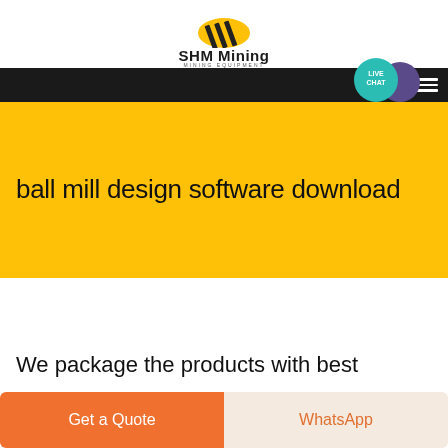[Figure (logo): SHM Mining logo with yellow/black icon and text 'SHM Mining MINING EQUIPMENT']
ball mill design software download
We package the products with best
Get a Quote
WhatsApp